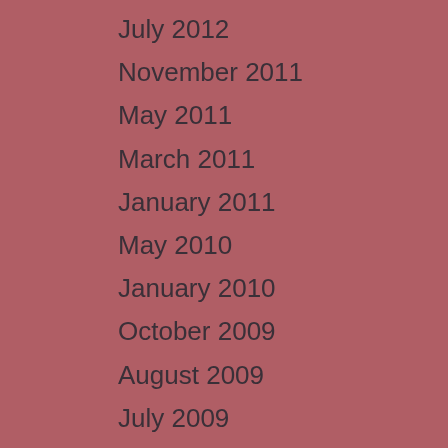July 2012
November 2011
May 2011
March 2011
January 2011
May 2010
January 2010
October 2009
August 2009
July 2009
June 2009
April 2009
February 2009